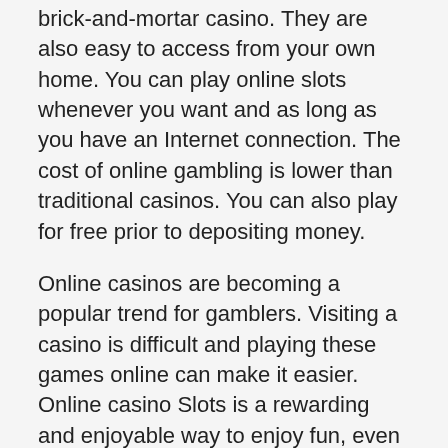brick-and-mortar casino. They are also easy to access from your own home. You can play online slots whenever you want and as long as you have an Internet connection. The cost of online gambling is lower than traditional casinos. You can also play for free prior to depositing money.
Online casinos are becoming a popular trend for gamblers. Visiting a casino is difficult and playing these games online can make it easier. Online casino Slots is a rewarding and enjoyable way to enjoy fun, even if don't have much experience. You can win cash or prizes by spinning the reels. Be sure to have the patience and the time to do it right. Online Casino Slots is a fantastic way to earn money!
There are many options available in the United States, whether you are looking for a non-regulated